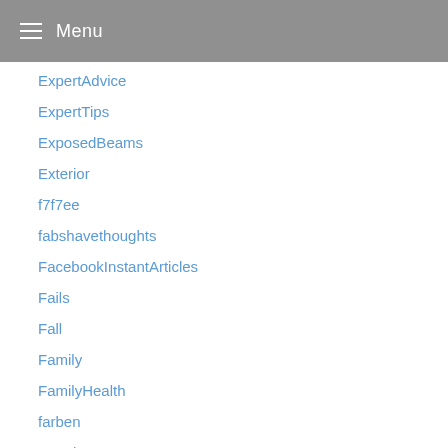Menu
ExpertAdvice
ExpertTips
ExposedBeams
Exterior
f7f7ee
fabshavethoughts
FacebookInstantArticles
Fails
Fall
Family
FamilyHealth
farben
Farmhouse
FarmhouseDecor
farmhousehomedecor
FarmhouseLaundryRoom
farmhousestyle